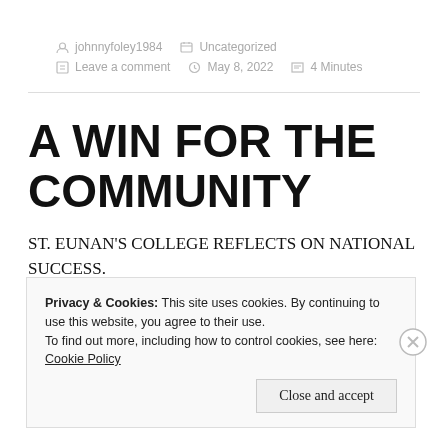johnnyfoley1984  Uncategorized  Leave a comment  May 8, 2022  4 Minutes
A WIN FOR THE COMMUNITY
ST. EUNAN'S COLLEGE REFLECTS ON NATIONAL SUCCESS.
Privacy & Cookies: This site uses cookies. By continuing to use this website, you agree to their use. To find out more, including how to control cookies, see here: Cookie Policy  Close and accept